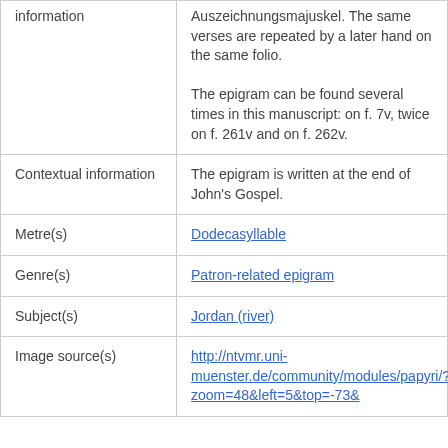| information | Auszeichnungsmajuskel. The same verses are repeated by a later hand on the same folio.
The epigram can be found several times in this manuscript: on f. 7v, twice on f. 261v and on f. 262v. |
| Contextual information | The epigram is written at the end of John's Gospel. |
| Metre(s) | Dodecasyllable |
| Genre(s) | Patron-related epigram |
| Subject(s) | Jordan (river) |
| Image source(s) | http://ntvmr.uni-muenster.de/community/modules/papyri/?zoom=48&left=5&top=-73& |